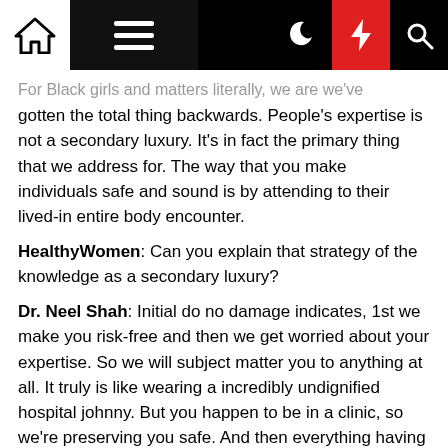Navigation bar with home, menu, moon, bolt, search icons
For Black girls and matters literally, we are we've gotten the total thing backwards. People's expertise is not a secondary luxury. It's in fact the primary thing that we address for. The way that you make individuals safe and sound is by attending to their lived-in entire body encounter.
HealthyWomen: Can you explain that strategy of the knowledge as a secondary luxury?
Dr. Neel Shah: Initial do no damage indicates, 1st we make you risk-free and then we get worried about your expertise. So we will subject matter you to anything at all. It truly is like wearing a incredibly undignified hospital johnny. But you happen to be in a clinic, so we're preserving you safe. And then everything having to do with somebody's working experience of treatment is handled as a luxury. It is a